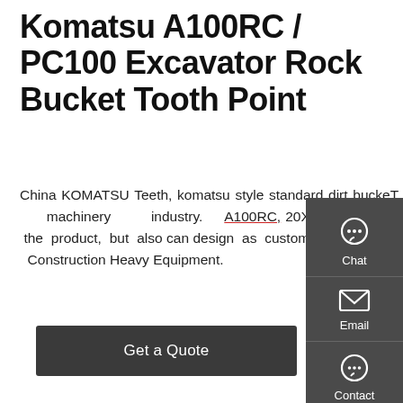Komatsu A100RC / PC100 Excavator Rock Bucket Tooth Point
China KOMATSU Teeth, komatsu style standard dirt buckeT tooth Advantage. 1.Over 10 years experience in engineer machinery industry. A100RC, 20XKefid160RC Komatsu ROCK CHISEL Bucket Tooth. 2.Not only sell the product, but also can design as customer's request. Kefid570R Excavator Bucket Tooth for PC200 Komatsu Construction Heavy Equipment.
[Figure (other): Sidebar panel with Chat, Email, and Contact icons on dark grey background]
Get a Quote